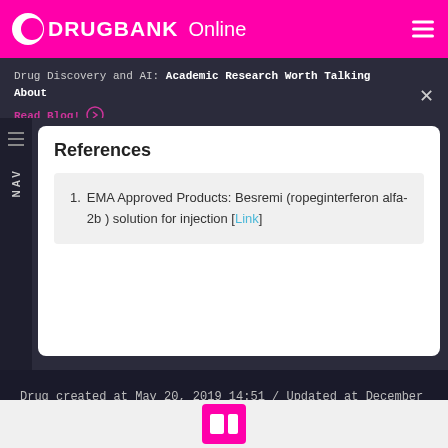DRUGBANK Online
Drug Discovery and AI: Academic Research Worth Talking About Read Blog!
References
1. EMA Approved Products: Besremi (ropeginterferon alfa-2b ) solution for injection [Link]
Drug created at May 20, 2019 14:51 / Updated at December 03, 2021 07:35